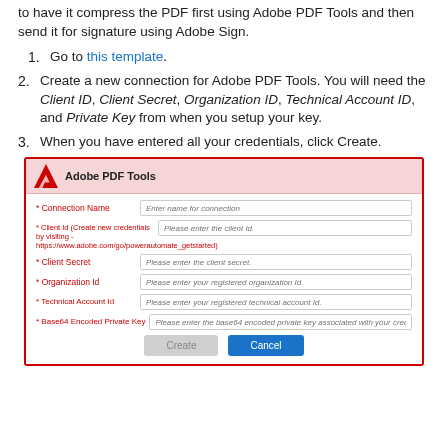to have it compress the PDF first using Adobe PDF Tools and then send it for signature using Adobe Sign.
1. Go to this template.
2. Create a new connection for Adobe PDF Tools. You will need the Client ID, Client Secret, Organization ID, Technical Account ID, and Private Key from when you setup your key.
3. When you have entered all your credentials, click Create.
[Figure (screenshot): Adobe PDF Tools connector dialog with fields: Connection Name, Client Id, Client Secret, Organization Id, Technical Account Id, Base64 Encoded Private Key, and Create/Cancel buttons.]